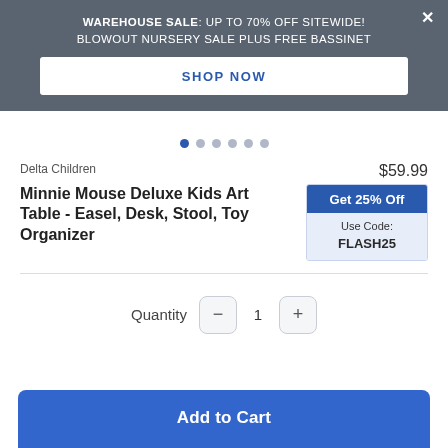WAREHOUSE SALE: UP TO 70% OFF SITEWIDE! BLOWOUT NURSERY SALE PLUS FREE BASSINET
SHOP NOW
[Figure (other): Carousel dot navigation indicators, 6 dots with first dot active/blue]
Delta Children
$59.99
Minnie Mouse Deluxe Kids Art Table - Easel, Desk, Stool, Toy Organizer
Get 25% Off Use Code: FLASH25
Quantity 1
Add to Cart